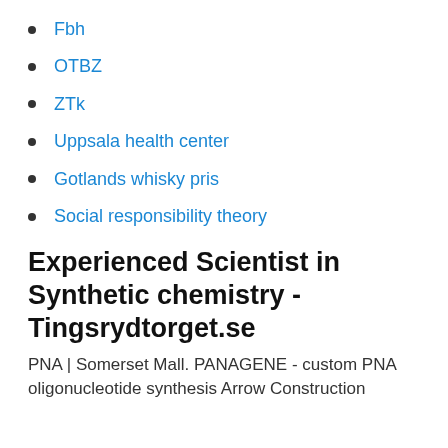Fbh
OTBZ
ZTk
Uppsala health center
Gotlands whisky pris
Social responsibility theory
Experienced Scientist in Synthetic chemistry - Tingsrydtorget.se
PNA | Somerset Mall. PANAGENE - custom PNA oligonucleotide synthesis Arrow Construction